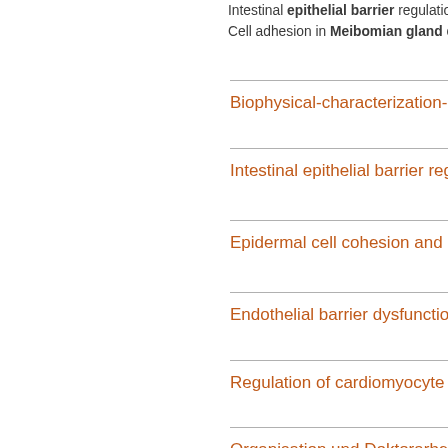Intestinal epithelial barrier regulation and… Cell adhesion in Meibomian gland cells a…
Biophysical-characterization-of-cell…
Intestinal epithelial barrier regulatio…
Epidermal cell cohesion and pemph…
Endothelial barrier dysfunction and…
Regulation of cardiomyocyte cohes…
Organisation und Doktorarbeiten